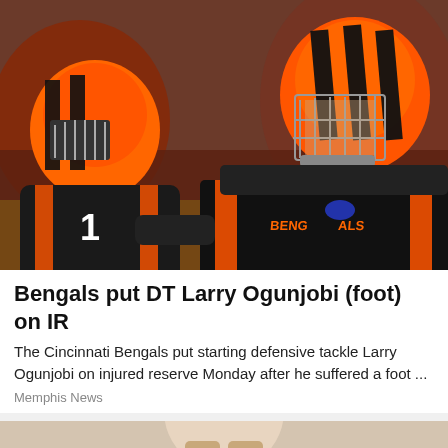[Figure (photo): Two Cincinnati Bengals players in orange and black uniforms with tiger stripe helmets; one player is grabbing/blocking another near the chest area on the football field, blurred crowd in background]
Bengals put DT Larry Ogunjobi (foot) on IR
The Cincinnati Bengals put starting defensive tackle Larry Ogunjobi on injured reserve Monday after he suffered a foot ...
Memphis News
[Figure (photo): Partial view of a person, cropped at bottom of page, light background]